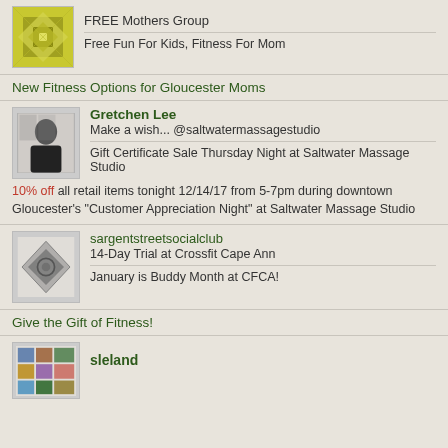[Figure (logo): Yellow/green geometric quilt-pattern square avatar]
FREE Mothers Group
Free Fun For Kids, Fitness For Mom
New Fitness Options for Gloucester Moms
[Figure (photo): Profile photo of Gretchen Lee, woman in black dress]
Gretchen Lee
Make a wish... @saltwatermassagestudio
Gift Certificate Sale Thursday Night at Saltwater Massage Studio
10% off all retail items tonight 12/14/17 from 5-7pm during downtown Gloucester's "Customer Appreciation Night" at Saltwater Massage Studio
[Figure (logo): Gray geometric quilt-pattern square avatar for sargentstreetsocialclub]
sargentstreetsocialclub
14-Day Trial at Crossfit Cape Ann
January is Buddy Month at CFCA!
Give the Gift of Fitness!
[Figure (logo): Colorful geometric square avatar for sleland]
sleland